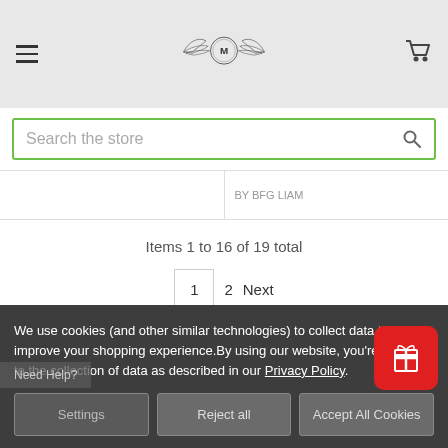[Figure (logo): Brand logo with wings and shield emblem]
Search the store
BY BFG LIAM
Items 1 to 16 of 19 total
1  2  Next
We use cookies (and other similar technologies) to collect data to improve your shopping experience.By using our website, you're agreeing to the collection of data as described in our Privacy Policy.
Settings
Reject all
Accept All Cookies